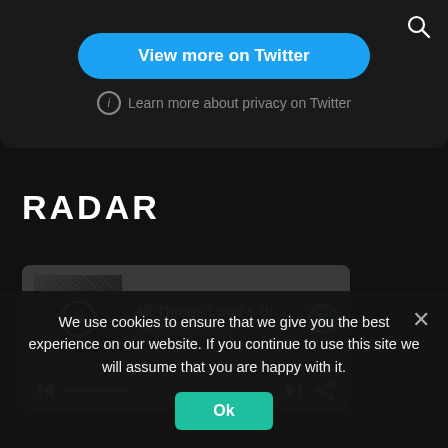[Figure (screenshot): Twitter embed area with 'View more on Twitter' button and privacy link]
View more on Twitter
ⓘ Learn more about privacy on Twitter
RADAR
[Figure (screenshot): Spotify player widget showing 'All Things Loud's Big Pl...' playlist by allthingsloudmusic, with album art, play button, progress bar, skip controls, and share icon]
We use cookies to ensure that we give you the best experience on our website. If you continue to use this site we will assume that you are happy with it.
Ok